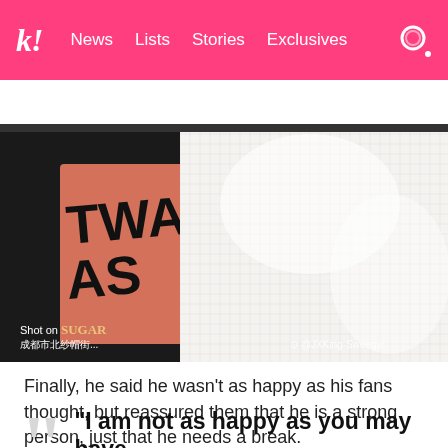k! News Lists Stories Exclusives
BTS BLACKPINK TWICE IVE aespa NCT SEVE
[Figure (photo): Close-up photo of what appears to be a white mesh fabric/bag with an orange label partially showing text 'TWAA S'. Shot on SUGAR watermark visible. Weibo watermark in bottom right.]
Finally, he said he wasn't as happy as his fans thought, but reassured them that he is a strong person, just that he needs a break.
“I am not as happy as you may have